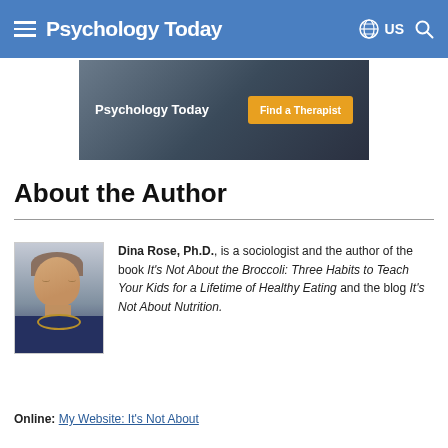Psychology Today — US
[Figure (photo): Psychology Today advertisement banner with 'Find a Therapist' button]
About the Author
[Figure (photo): Photo of Dina Rose, Ph.D. — a woman with short blonde hair wearing a blue top and necklace]
Dina Rose, Ph.D., is a sociologist and the author of the book It's Not About the Broccoli: Three Habits to Teach Your Kids for a Lifetime of Healthy Eating and the blog It's Not About Nutrition.
Online: My Website: It's Not About Nutrition